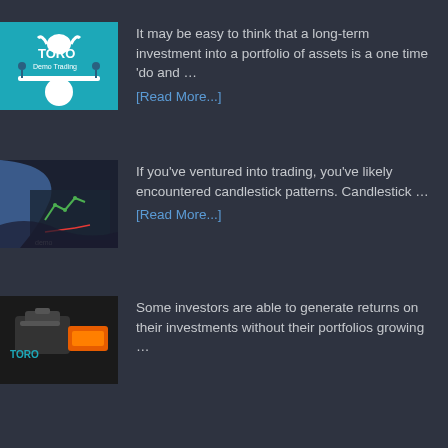[Figure (illustration): Toro Demo Trading logo with bull balancing on a sphere with two figures]
It may be easy to think that a long-term investment into a portfolio of assets is a one time 'do and … [Read More...]
[Figure (illustration): Candlestick chart trading illustration with dark background]
If you've ventured into trading, you've likely encountered candlestick patterns. Candlestick … [Read More...]
[Figure (illustration): Toro Demo Trading logo with briefcase and orange elements]
Some investors are able to generate returns on their investments without their portfolios growing …